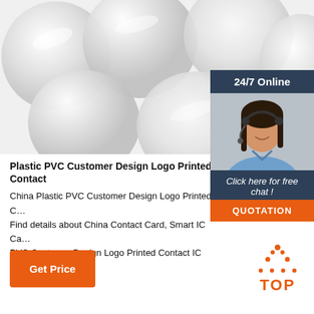[Figure (photo): Product photo of multiple white/clear circular PVC contact IC cards scattered on a white background]
[Figure (other): 24/7 Online chat widget with agent photo, 'Click here for free chat!' call-to-action and orange QUOTATION button]
Plastic PVC Customer Design Logo Printed Contact
China Plastic PVC Customer Design Logo Printed C… Find details about China Contact Card, Smart IC Ca… PVC Customer Design Logo Printed Contact IC Car… CO., LTD.
[Figure (other): Orange 'Get Price' button]
[Figure (logo): TOP logo with orange dotted triangle above the word TOP in orange]